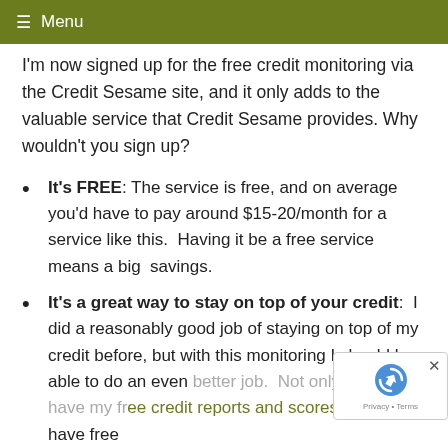≡ Menu
I'm now signed up for the free credit monitoring via the Credit Sesame site, and it only adds to the valuable service that Credit Sesame provides. Why wouldn't you sign up?
It's FREE: The service is free, and on average you'd have to pay around $15-20/month for a service like this.  Having it be a free service means a big  savings.
It's a great way to stay on top of your credit:  I did a reasonably good job of staying on top of my credit before, but with this monitoring I should be able to do an even better job.  Not only will I now have my free credit reports and scores, I'll also have free